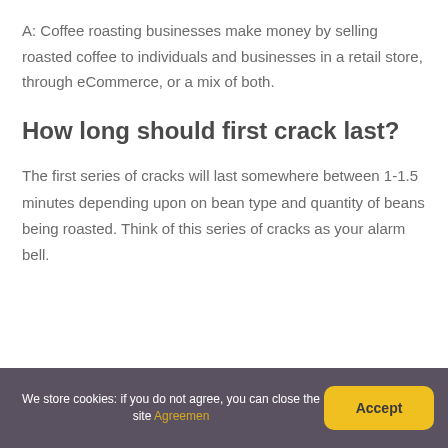A: Coffee roasting businesses make money by selling roasted coffee to individuals and businesses in a retail store, through eCommerce, or a mix of both.
How long should first crack last?
The first series of cracks will last somewhere between 1-1.5 minutes depending upon on bean type and quantity of beans being roasted. Think of this series of cracks as your alarm bell.
We store cookies: if you do not agree, you can close the site Agreement | Accept